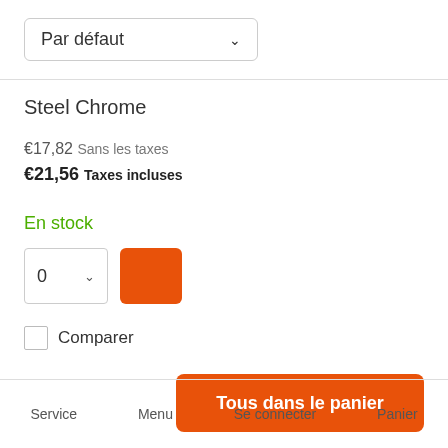Par défaut
Steel Chrome
€17,82 Sans les taxes
€21,56 Taxes incluses
En stock
0
Comparer
Tous dans le panier
Service   Menu   Se connecter   Panier